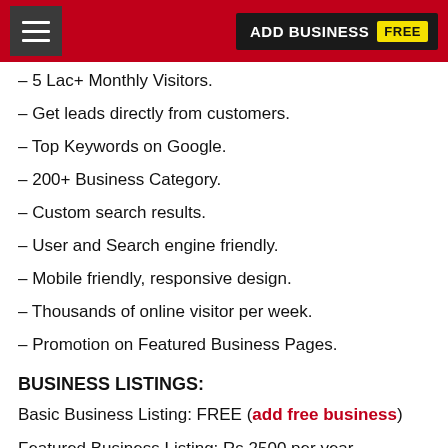ADD BUSINESS FREE
– 5 Lac+ Monthly Visitors.
– Get leads directly from customers.
– Top Keywords on Google.
– 200+ Business Category.
– Custom search results.
– User and Search engine friendly.
– Mobile friendly, responsive design.
– Thousands of online visitor per week.
– Promotion on Featured Business Pages.
BUSINESS LISTINGS:
Basic Business Listing: FREE (add free business)
Featured Business Listing: Rs 2500 per year
BANNER ADS ON WEBSITE:
AD1 – Top Header Banner: Rs 5000 per month (full website